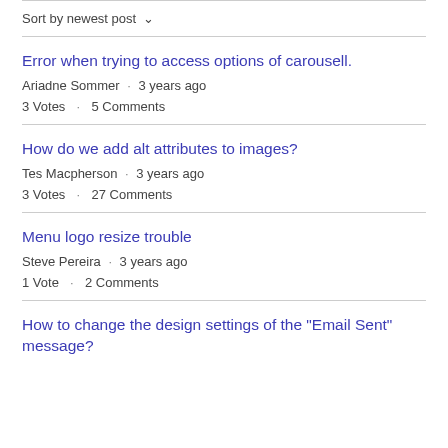Sort by newest post ∨
Error when trying to access options of carousell.
Ariadne Sommer · 3 years ago
3 Votes · 5 Comments
How do we add alt attributes to images?
Tes Macpherson · 3 years ago
3 Votes · 27 Comments
Menu logo resize trouble
Steve Pereira · 3 years ago
1 Vote · 2 Comments
How to change the design settings of the "Email Sent" message?